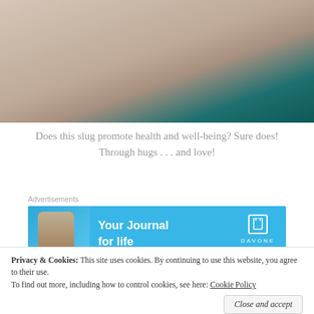[Figure (photo): Close-up photo of a plush/fleece fabric surface in beige/tan color with a teal or dark green accent patch visible at upper right corner]
Does this slug promote health and well-being? Sure does! Through hugs . . . and love!
Advertisements
[Figure (screenshot): Advertisement banner for DayOne journal app. Blue background with phone graphic on left, bold white text 'Your Journal for life', and DayOne logo with bookmark icon on the right.]
[Figure (photo): Partial photo visible behind cookie consent banner, appears gray/neutral colored]
Privacy & Cookies: This site uses cookies. By continuing to use this website, you agree to their use. To find out more, including how to control cookies, see here: Cookie Policy
Close and accept